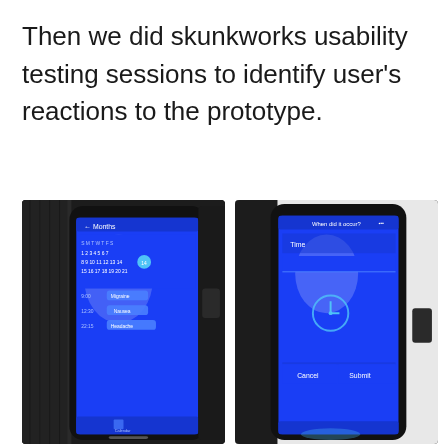Then we did skunkworks usability testing sessions to identify user's reactions to the prototype.
[Figure (photo): Two smartphones in black cases displaying blue app screens during usability testing sessions. Left phone shows a calendar or list view app with blue UI. Right phone shows a dialog or form screen with blue UI and Cancel/Submit buttons.]